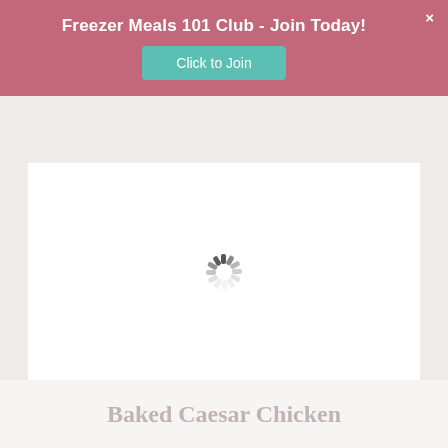Freezer Meals 101 Club - Join Today!
Click to Join
[Figure (screenshot): Loading spinner (animated circular spinner) centered in a white content area with light gray/beige side margins]
Baked Caesar Chicken Recipe